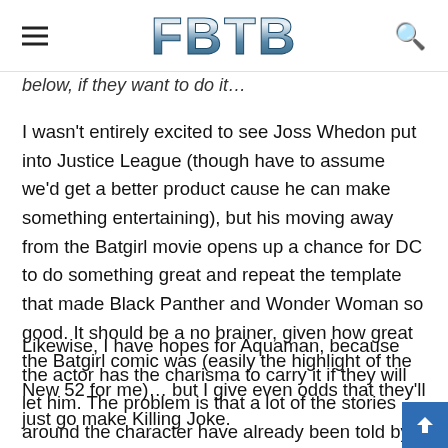FBTB
below, if they want to do it…
I wasn't entirely excited to see Joss Whedon put into Justice League (though have to assume we'd get a better product cause he can make something entertaining), but his moving away from the Batgirl movie opens up a chance for DC to do something great and repeat the template that made Black Panther and Wonder Woman so good. It should be a no brainer, given how great the Batgirl comic was (easily the highlight of the New 52 for me)… but I give even odds that they'll just go make Killing Joke.
Likewise, I have hopes for Aquaman, because the actor has the charisma to carry it if they will let him. The problem is that a lot of the stories around the character have already been told by Marvel or will be told by Marvel in the very ne…